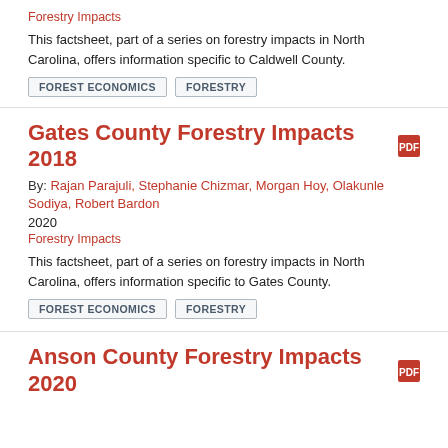Forestry Impacts
This factsheet, part of a series on forestry impacts in North Carolina, offers information specific to Caldwell County.
FOREST ECONOMICS
FORESTRY
Gates County Forestry Impacts 2018
By: Rajan Parajuli, Stephanie Chizmar, Morgan Hoy, Olakunle Sodiya, Robert Bardon
2020
Forestry Impacts
This factsheet, part of a series on forestry impacts in North Carolina, offers information specific to Gates County.
FOREST ECONOMICS
FORESTRY
Anson County Forestry Impacts 2020